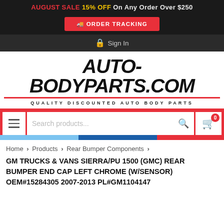AUGUST SALE 15% OFF On Any Order Over $250
ORDER TRACKING
Sign In
[Figure (logo): AUTO-BODYPARTS.COM logo in bold italic black text with red underline and tagline QUALITY DISCOUNTED AUTO BODY PARTS]
Search products...
Home > Products > Rear Bumper Components >
GM TRUCKS & VANS SIERRA/PU 1500 (GMC) REAR BUMPER END CAP LEFT CHROME (W/SENSOR) OEM#15284305 2007-2013 PL#GM1104147